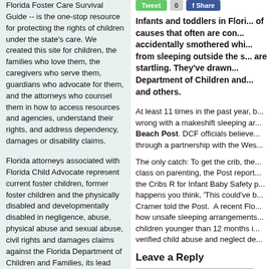Florida Foster Care Survival Guide -- is the one-stop resource for protecting the rights of children under the state's care. We created this site for children, the families who love them, the caregivers who serve them, guardians who advocate for them, and the attorneys who counsel them in how to access resources and agencies, understand their rights, and address dependency, damages or disability claims.
Florida attorneys associated with Florida Child Advocate represent current foster children, former foster children and the physically disabled and developmentally disabled in negligence, abuse, physical abuse and sexual abuse, civil rights and damages claims against the Florida Department of Children and Families, its lead agencies and community based care providers, and other child welfare providers. These attorneys have helped recover hundreds of millions of dollars in damage claims in one of the largest and most successful Foster Care and Disabled Persons practice areas in the...
Infants and toddlers in Florida are dying of causes that often are considered accidentally smothered while sleeping or from sleeping outside the safe... are startling. They've drawn... Department of Children and... and others.
At least 11 times in the past year, b... wrong with a makeshift sleeping ar... Beach Post. DCF officials believe... through a partnership with the Wes...
The only catch: To get the crib, the... class on parenting, the Post report... the Cribs R for Infant Baby Safety p... happens you think, 'This could've b... Cramer told the Post. A recent Flo... how unsafe sleeping arrangements... children younger than 12 months i... verified child abuse and neglect de...
Leave a Reply